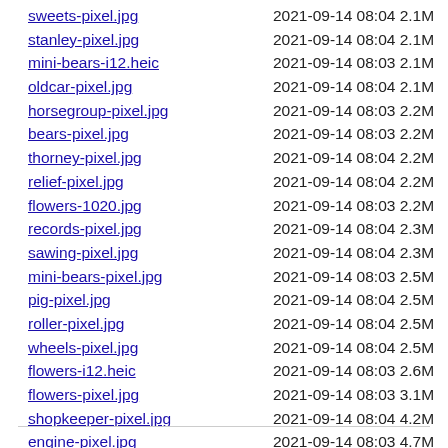sweets-pixel.jpg  2021-09-14 08:04 2.1M
stanley-pixel.jpg  2021-09-14 08:04 2.1M
mini-bears-i12.heic  2021-09-14 08:03 2.1M
oldcar-pixel.jpg  2021-09-14 08:04 2.1M
horsegroup-pixel.jpg  2021-09-14 08:03 2.2M
bears-pixel.jpg  2021-09-14 08:03 2.2M
thorney-pixel.jpg  2021-09-14 08:04 2.2M
relief-pixel.jpg  2021-09-14 08:04 2.2M
flowers-1020.jpg  2021-09-14 08:03 2.2M
records-pixel.jpg  2021-09-14 08:04 2.3M
sawing-pixel.jpg  2021-09-14 08:04 2.3M
mini-bears-pixel.jpg  2021-09-14 08:03 2.5M
pig-pixel.jpg  2021-09-14 08:04 2.5M
roller-pixel.jpg  2021-09-14 08:04 2.5M
wheels-pixel.jpg  2021-09-14 08:04 2.5M
flowers-i12.heic  2021-09-14 08:03 2.6M
flowers-pixel.jpg  2021-09-14 08:03 3.1M
shopkeeper-pixel.jpg  2021-09-14 08:04 4.2M
engine-pixel.jpg  2021-09-14 08:03 4.7M